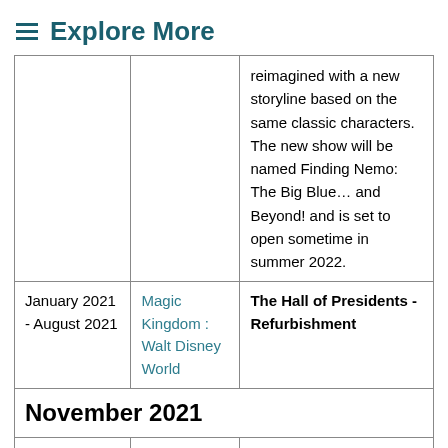≡ Explore More
| Date | Location | Event |
| --- | --- | --- |
|  |  | reimagined with a new storyline based on the same classic characters. The new show will be named Finding Nemo: The Big Blue… and Beyond! and is set to open sometime in summer 2022. |
| January 2021 - August 2021 | Magic Kingdom : Walt Disney World | The Hall of Presidents - Refurbishment |
November 2021
| Date | Location | Event |
| --- | --- | --- |
| Under Construction | Tomorrowland : Magic | TRON: Lightcycle Run TRON Lightcycle Run is |